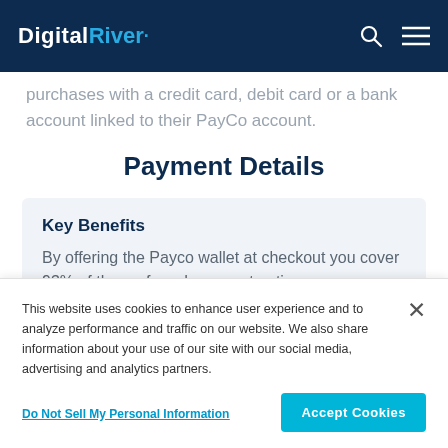Digital River
purchases with a credit card, debit card or a bank account linked to their PayCo account.
Payment Details
Key Benefits
By offering the Payco wallet at checkout you cover 93% of the preferred payment options
This website uses cookies to enhance user experience and to analyze performance and traffic on our website. We also share information about your use of our site with our social media, advertising and analytics partners.
Do Not Sell My Personal Information
Accept Cookies